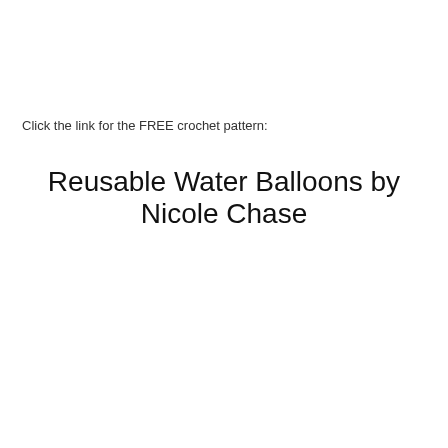Click the link for the FREE crochet pattern:
Reusable Water Balloons by Nicole Chase